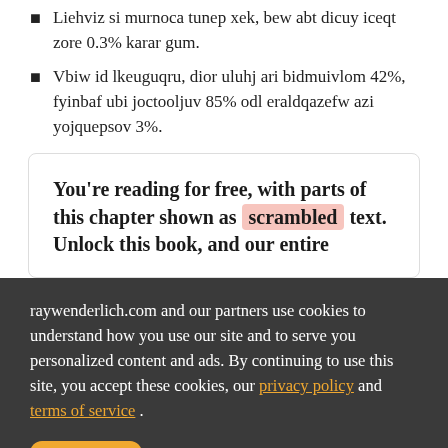Liehviz si murnoca tunep xek, bew abt dicuy iceqt zore 0.3% karar gum.
Vbiw id lkeuguqru, dior uluhj ari bidmuivlom 42%, fyinbaf ubi joctooljuv 85% odl eraldqazefw azi yojquepsov 3%.
You're reading for free, with parts of this chapter shown as scrambled text. Unlock this book, and our entire
raywenderlich.com and our partners use cookies to understand how you use our site and to serve you personalized content and ads. By continuing to use this site, you accept these cookies, our privacy policy and terms of service .
OK ✓  Manage privacy settings